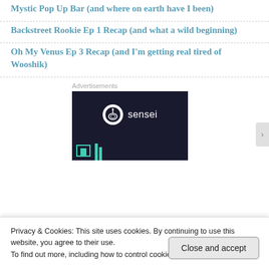Mystic Pop Up Bar (and where on earth have I been)
Backstreet Rookie Ep 1 Recap (and what a wild beginning)
Oh My Venus Ep 3 Recap (and I'm getting real tired of Wooshik)
Advertisements
[Figure (other): Dark advertisement banner for 'sensei' product with teal/mint colored block graphics at bottom]
Privacy & Cookies: This site uses cookies. By continuing to use this website, you agree to their use.
To find out more, including how to control cookies, see here: Cookie Policy
Close and accept